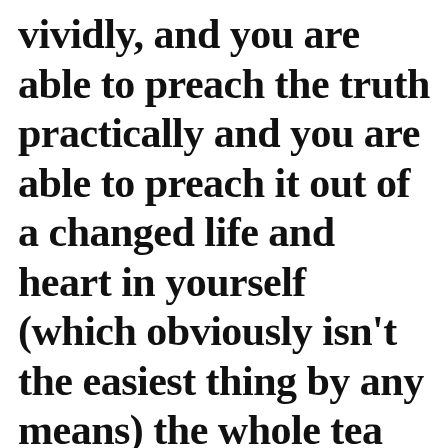vividly, and you are able to preach the truth practically and you are able to preach it out of a changed life and heart in yourself (which obviously isn't the easiest thing by any means) the whole teaching